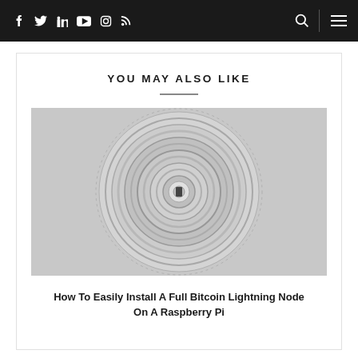f  t  in  yt  insta  rss  [search] [menu]
YOU MAY ALSO LIKE
[Figure (photo): Blurred circular/concentric pattern resembling a QR code or decorative seal, rendered in grayscale]
How To Easily Install A Full Bitcoin Lightning Node On A Raspberry Pi